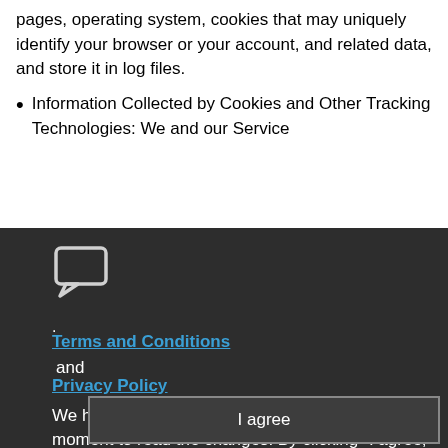pages, operating system, cookies that may uniquely identify your browser or your account, and related data, and store it in log files.
Information Collected by Cookies and Other Tracking Technologies: We and our Service
[Figure (illustration): Chat bubble / speech bubble icon (outline style) on dark background]
.
Terms and Conditions
and
Privacy Policy
We have updated our privacy policy. Take a moment to read the changes. By clicking "I agree," you agree to the Arrow ECS Education
I agree